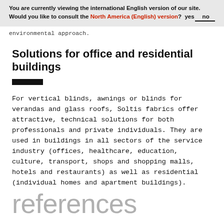You are currently viewing the international English version of our site. Would you like to consult the North America (English) version?  yes    no
environmental approach.
Solutions for office and residential buildings
For vertical blinds, awnings or blinds for verandas and glass roofs, Soltis fabrics offer attractive, technical solutions for both professionals and private individuals. They are used in buildings in all sectors of the service industry (offices, healthcare, education, culture, transport, shops and shopping malls, hotels and restaurants) as well as residential (individual homes and apartment buildings).
references